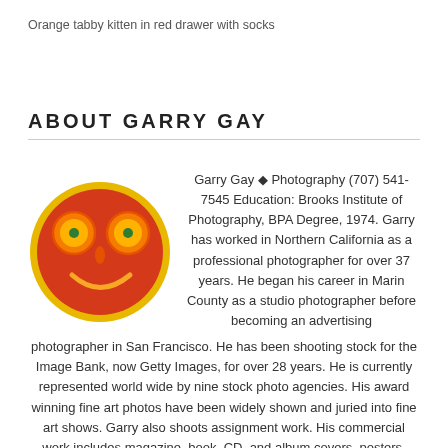Orange tabby kitten in red drawer with socks
ABOUT GARRY GAY
[Figure (photo): A smiley face made from food on a red plate: orange slices as eyes, a carrot as nose, and lemon rind as a smile]
Garry Gay ◆ Photography (707) 541-7545 Education: Brooks Institute of Photography, BPA Degree, 1974. Garry has worked in Northern California as a professional photographer for over 37 years. He began his career in Marin County as a studio photographer before becoming an advertising photographer in San Francisco. He has been shooting stock for the Image Bank, now Getty Images, for over 28 years. He is currently represented world wide by nine stock photo agencies. His award winning fine art photos have been widely shown and juried into fine art shows. Garry also shoots assignment work. His commercial work includes magazine, book, CD, and album covers, posters, greeting cards, and other print publications, including work for the...